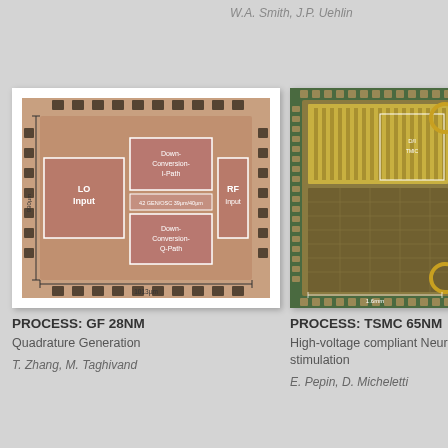W.A. Smith, J.P. Uehlin
[Figure (photo): Chip die photo of GF 28NM Quadrature Generation IC with labeled regions: LO Input, RF Input, Down-Conversion I-Path, Down-Conversion Q-Path. Dimensions 990µm x 1013µm shown.]
[Figure (photo): Chip die photo of TSMC 65NM High-voltage compliant Neural stimulation IC. Dimension 1.6mm shown.]
PROCESS: GF 28NM
Quadrature Generation
T. Zhang, M. Taghivand
PROCESS: TSMC 65NM
High-voltage compliant Neural stimulation
E. Pepin, D. Micheletti